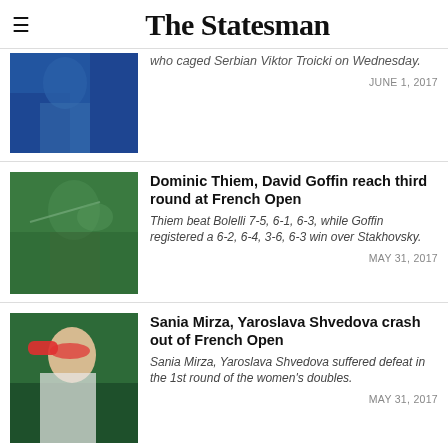The Statesman
who caged Serbian Viktor Troicki on Wednesday.
JUNE 1, 2017
Dominic Thiem, David Goffin reach third round at French Open
Thiem beat Bolelli 7-5, 6-1, 6-3, while Goffin registered a 6-2, 6-4, 3-6, 6-3 win over Stakhovsky.
MAY 31, 2017
Sania Mirza, Yaroslava Shvedova crash out of French Open
Sania Mirza, Yaroslava Shvedova suffered defeat in the 1st round of the women's doubles.
MAY 31, 2017